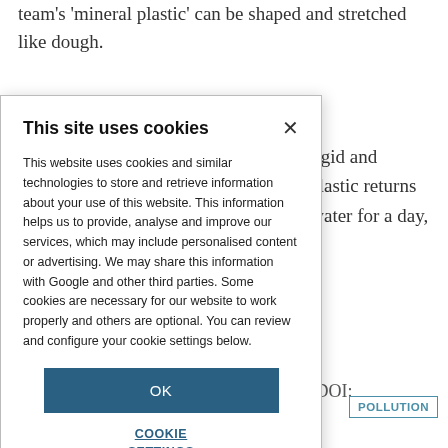team's 'mineral plastic' can be shaped and stretched like dough.
a rigid and e plastic returns n water for a day, of.
b (DOI:
[Figure (screenshot): Cookie consent modal dialog overlay on a webpage. Title: 'This site uses cookies'. Body text explains cookie usage policy. Contains an 'OK' button and a 'COOKIE SETTINGS' link.]
POLLUTION